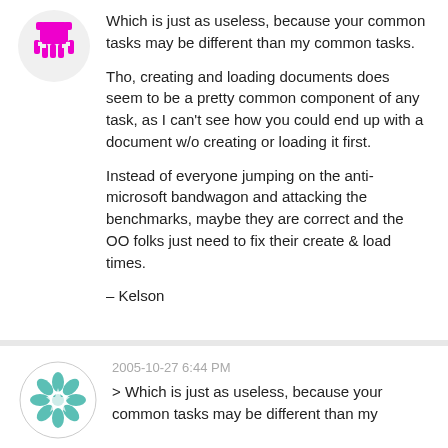[Figure (illustration): Magenta/pink pixelated octopus avatar icon]
Which is just as useless, because your common tasks may be different than my common tasks.

Tho, creating and loading documents does seem to be a pretty common component of any task, as I can't see how you could end up with a document w/o creating or loading it first.

Instead of everyone jumping on the anti-microsoft bandwagon and attacking the benchmarks, maybe they are correct and the OO folks just need to fix their create & load times.

– Kelson
[Figure (illustration): Teal/mint geometric mandala-style avatar icon in a circle]
2005-10-27 6:44 PM
> Which is just as useless, because your common tasks may be different than my